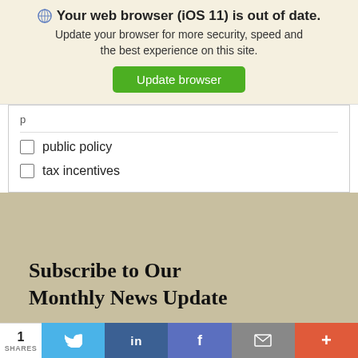Your web browser (iOS 11) is out of date. Update your browser for more security, speed and the best experience on this site. Update browser
public policy
tax incentives
Subscribe to Our Monthly News Update
1  [Twitter] [LinkedIn] [Facebook] [Email] [+]